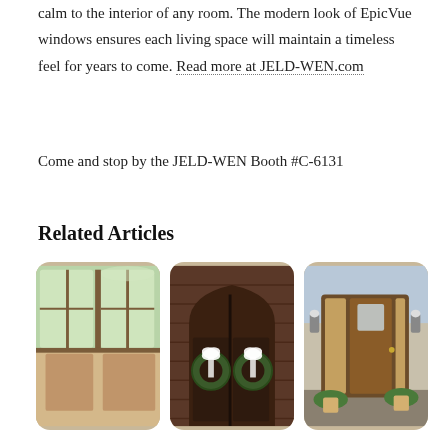calm to the interior of any room. The modern look of EpicVue windows ensures each living space will maintain a timeless feel for years to come. Read more at JELD-WEN.com
Come and stop by the JELD-WEN Booth #C-6131
Related Articles
[Figure (photo): Photo of windows and patio doors showing interior and exterior views]
[Figure (photo): Photo of a double door with arched top decorated with holiday wreaths and white bows]
[Figure (photo): Photo of a wooden front door with sidelights and potted plants on a porch]